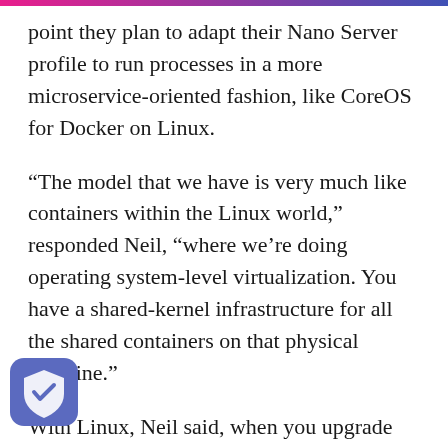point they plan to adapt their Nano Server profile to run processes in a more microservice-oriented fashion, like CoreOS for Docker on Linux.
“The model that we have is very much like containers within the Linux world,” responded Neil, “where we’re doing operating system-level virtualization. You have a shared-kernel infrastructure for all the shared containers on that physical machine.”
With Linux, Neil said, when you upgrade the kernel, you subsequently upgrade the containers to match, which may cause compatibility issues. They would have issues with processes written for Windows Server that will contain low-level drivers...